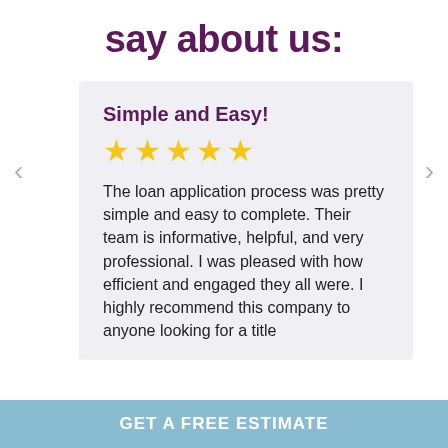say about us:
Simple and Easy!
[Figure (other): Five golden star rating icons indicating a 5-star review]
The loan application process was pretty simple and easy to complete. Their team is informative, helpful, and very professional. I was pleased with how efficient and engaged they all were. I highly recommend this company to anyone looking for a title
GET A FREE ESTIMATE